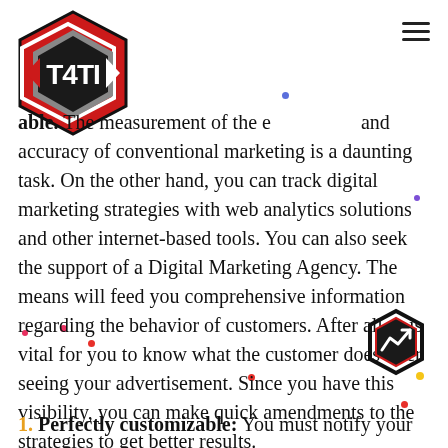[Figure (logo): TATI martial arts logo - red and black hexagon shape with 'TATI' text in white]
able. The measurement of the effectiveness and accuracy of conventional marketing is a daunting task. On the other hand, you can track digital marketing strategies with web analytics solutions and other internet-based tools. You can also seek the support of a Digital Marketing Agency. The means will feed you comprehensive information regarding the behavior of customers. After all, it is vital for you to know what the customer does after seeing your advertisement. Since you have this visibility, you can make quick amendments to the strategies to get better results.
[Figure (logo): Small black and red hexagon icon with arrow/chart symbol, bottom right corner]
1. Perfectly customizable: You must notify your